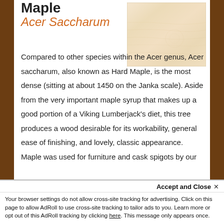Maple
Acer Saccharum
[Figure (photo): Close-up photo of maple wood grain showing pale cream color with subtle grain pattern]
Compared to other species within the Acer genus, Acer saccharum, also known as Hard Maple, is the most dense (sitting at about 1450 on the Janka scale). Aside from the very important maple syrup that makes up a good portion of a Viking Lumberjack's diet, this tree produces a wood desirable for its workability, general ease of finishing, and lovely, classic appearance. Maple was used for furniture and cask spigots by our
Viking predecessors. Today, outside of...
Accept and Close ×
Your browser settings do not allow cross-site tracking for advertising. Click on this page to allow AdRoll to use cross-site tracking to tailor ads to you. Learn more or opt out of this AdRoll tracking by clicking here. This message only appears once.